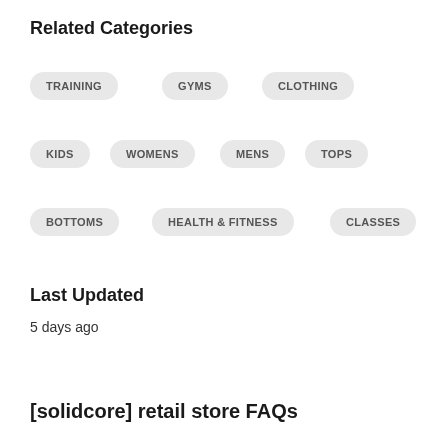Related Categories
TRAINING
GYMS
CLOTHING
KIDS
WOMENS
MENS
TOPS
BOTTOMS
HEALTH & FITNESS
CLASSES
Last Updated
5 days ago
[solidcore] retail store FAQs